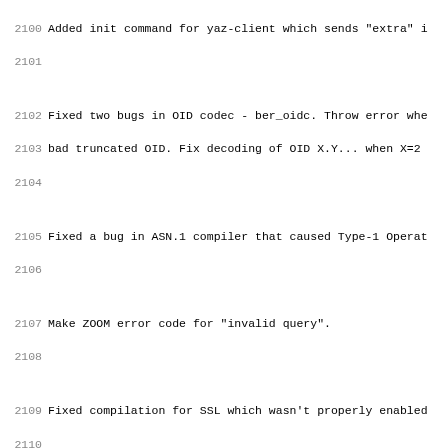2100  Added init command for yaz-client which sends "extra" i
2102  Fixed two bugs in OID codec - ber_oidc. Throw error whe
2103  bad truncated OID. Fix decoding of OID X.Y... when X=2
2105  Fixed a bug in ASN.1 compiler that caused Type-1 Operat
2107  Make ZOOM error code for "invalid query".
2109  Fixed compilation for SSL which wasn't properly enabled
2111  --- 2.0.10 2004/02/05
2113  For yaz.m4, allow second argument for YAZ_INIT to hold
2114  YAZ required.
2116  * SRW/SRU 1.1 updates. Diagnostic code now a URI.
2118  Added option -p <file> to make Generic Frontend Server
2120  Added option -D to put Generic Frontend Server in backg
2122  Make ZOOM C recognize option "password". If unset, "pas
2123  (for backwards compatibility).
2125  Fixed a bug in Generic Frontend Server that could make
2126  client sets characterSetNegotation bit, but didn't pass
2127  in InitRequest.
2129  New YAZ client command, zversion, that sets Z39.50 vers
2130  Must be issued before open, in order to be in effect.